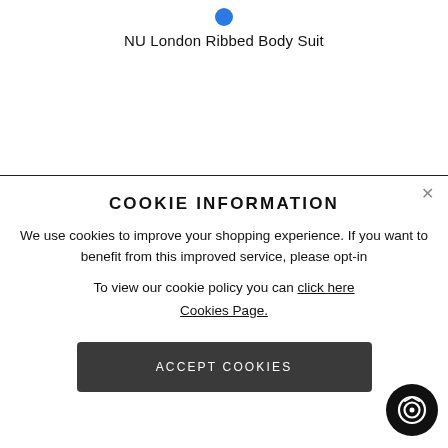NU London Ribbed Body Suit
COOKIE INFORMATION
We use cookies to improve your shopping experience. If you want to benefit from this improved service, please opt-in
To view our cookie policy you can click here Cookies Page.
ACCEPT COOKIES